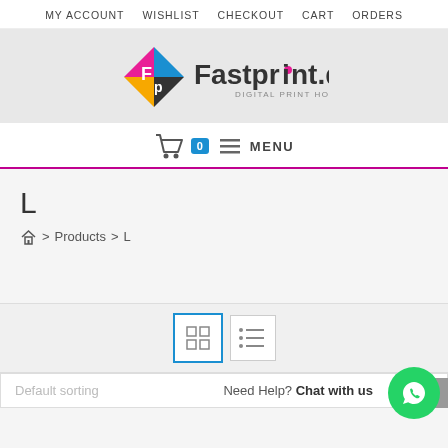MY ACCOUNT  WISHLIST  CHECKOUT  CART  ORDERS
[Figure (logo): Fastprint.dk Digital Print House logo with colorful diamond/rhombus icon on left and text on right]
[Figure (infographic): Shopping cart icon with blue badge showing 0, hamburger menu icon, MENU text]
L
Home > Products > L
[Figure (infographic): Grid view icon (active, blue border) and list view icon toggle buttons]
Default sorting
Need Help? Chat with us